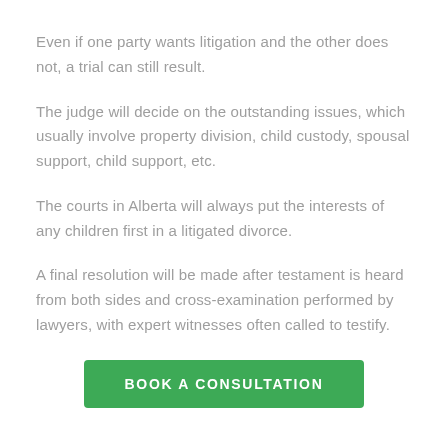Even if one party wants litigation and the other does not, a trial can still result.
The judge will decide on the outstanding issues, which usually involve property division, child custody, spousal support, child support, etc.
The courts in Alberta will always put the interests of any children first in a litigated divorce.
A final resolution will be made after testament is heard from both sides and cross-examination performed by lawyers, with expert witnesses often called to testify.
BOOK A CONSULTATION